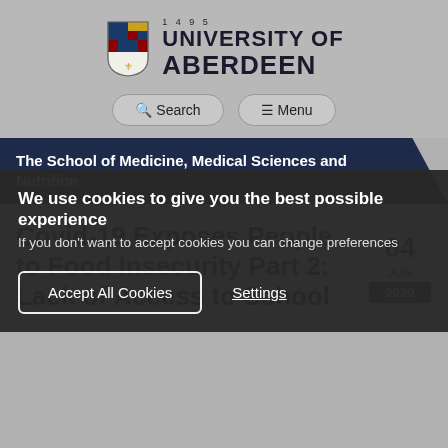[Figure (logo): University of Aberdeen crest/shield logo with text '1495 UNIVERSITY OF ABERDEEN']
Search   Menu
The School of Medicine, Medical Sciences and Nutrition
Covid-19 Exposes People to Food Insecurity Part 2: Lack of Access to School
04 JUN 2020
We use cookies to give you the best possible experience
If you don't want to accept cookies you can change preferences
Accept All Cookies   Settings